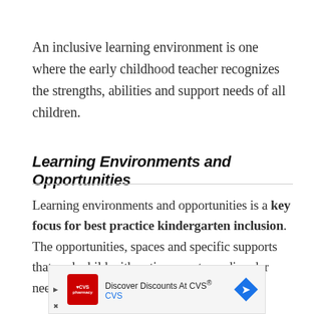An inclusive learning environment is one where the early childhood teacher recognizes the strengths, abilities and support needs of all children.
Learning Environments and Opportunities
Learning environments and opportunities is a key focus for best practice kindergarten inclusion. The opportunities, spaces and specific supports that each child with autism spectrum disorder needs can
[Figure (other): Advertisement banner for CVS pharmacy: 'Discover Discounts At CVS® CVS' with CVS logo and navigation arrow icon]